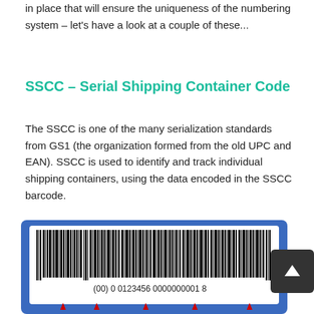in place that will ensure the uniqueness of the numbering system – let's have a look at a couple of these...
SSCC – Serial Shipping Container Code
The SSCC is one of the many serialization standards from GS1 (the organization formed from the old UPC and EAN). SSCC is used to identify and track individual shipping containers, using the data encoded in the SSCC barcode.
[Figure (illustration): An SSCC barcode image showing a barcode with the number (00) 0 0123456 0000000001 8 underneath, displayed on a blue card background. Red arrows point upward at segments of the number below the barcode. A dark scroll-to-top button overlaps the right side.]